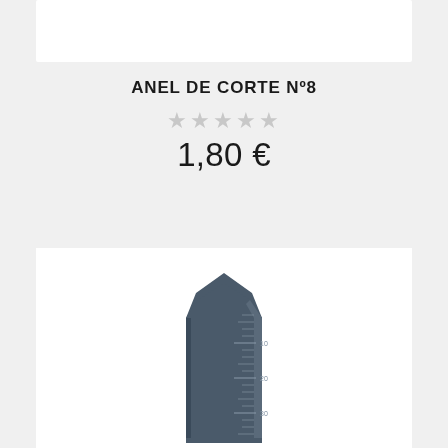ANEL DE CORTE Nº8
★★★★★ (star rating, empty/grey)
1,80 €
[Figure (photo): A dark blue/grey plastic cutting ring or gauge tool (Anel de Corte No.8) with a pointed top, featuring millimeter measurement markings on its surface showing graduations at 10, 20, and 30 units.]